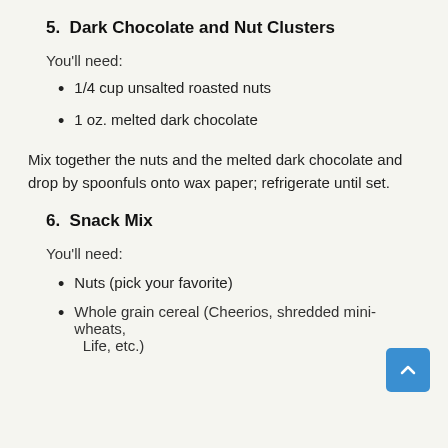5.  Dark Chocolate and Nut Clusters
You'll need:
1/4 cup unsalted roasted nuts
1 oz. melted dark chocolate
Mix together the nuts and the melted dark chocolate and drop by spoonfuls onto wax paper; refrigerate until set.
6.  Snack Mix
You'll need:
Nuts (pick your favorite)
Whole grain cereal (Cheerios, shredded mini-wheats, Life, etc.)